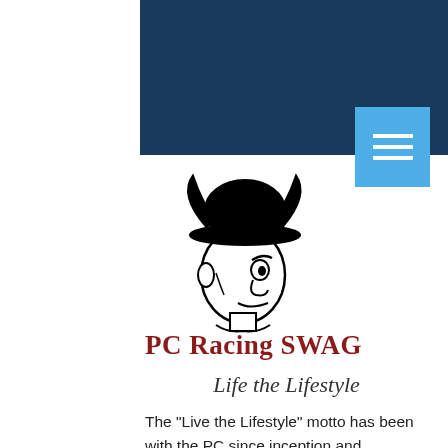[Figure (illustration): Dark navy blue header bar spanning upper right portion of the page]
[Figure (illustration): Light blue hamburger menu button with three white horizontal lines]
[Figure (logo): PC Racing SWAG logo: black and white cartoon illustration of a man wearing a bowler hat with horns, facing right, smirking]
PC Racing SWAG
Life the Lifestyle
The "Live the Lifestyle" motto has been with the PC since inception and encompasses everything we are about.
PC is more than a brand it's a way of life and is specific to YOU and how you